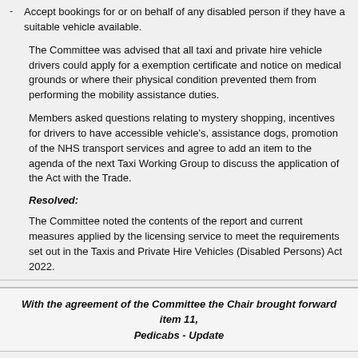Accept bookings for or on behalf of any disabled person if they have a suitable vehicle available.
The Committee was advised that all taxi and private hire vehicle drivers could apply for a exemption certificate and notice on medical grounds or where their physical condition prevented them from performing the mobility assistance duties.
Members asked questions relating to mystery shopping, incentives for drivers to have accessible vehicle's, assistance dogs, promotion of the NHS transport services and agree to add an item to the agenda of the next Taxi Working Group to discuss the application of the Act with the Trade.
Resolved:
The Committee noted the contents of the report and current measures applied by the licensing service to meet the requirements set out in the Taxis and Private Hire Vehicles (Disabled Persons) Act 2022.
With the agreement of the Committee the Chair brought forward item 11, Pedicabs - Update
20.
Pedicabs - Update  PDF 180 KB